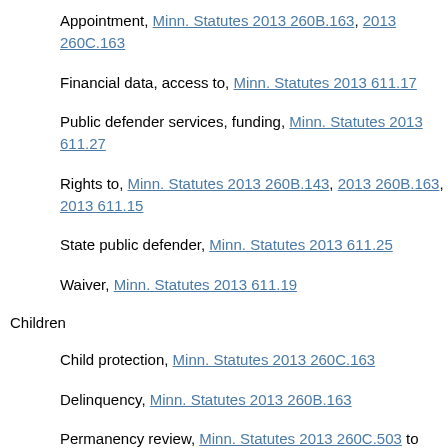Appointment, Minn. Statutes 2013 260B.163, 2013 260C.163
Financial data, access to, Minn. Statutes 2013 611.17
Public defender services, funding, Minn. Statutes 2013 611.27
Rights to, Minn. Statutes 2013 260B.143, 2013 260B.163, 2013 611.15
State public defender, Minn. Statutes 2013 611.25
Waiver, Minn. Statutes 2013 611.19
Children
Child protection, Minn. Statutes 2013 260C.163
Delinquency, Minn. Statutes 2013 260B.163
Permanency review, Minn. Statutes 2013 260C.503 to 2013 260C.521